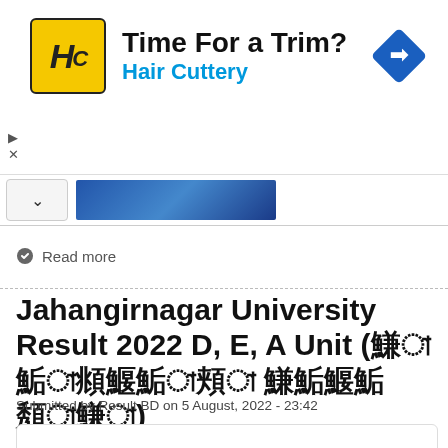[Figure (other): Hair Cuttery advertisement banner with logo (HC yellow square), headline 'Time For a Trim?', subtext 'Hair Cuttery', and a blue diamond navigation arrow icon]
[Figure (photo): Partial blue-toned image visible below the ad banner, with a chevron/up arrow button]
Read more
Jahangirnagar University Result 2022 D, E, A Unit (জাহাঙ্গীরনগর বিশ্ববিদ্যালয়)
Submitted by Result BD on 5 August, 2022 - 23:42
[Figure (logo): Jahangirnagar University logo/seal in blue color, partially visible]